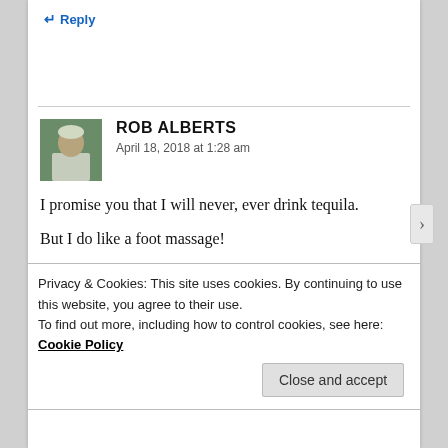↵ Reply
ROB ALBERTS
April 18, 2018 at 1:28 am
I promise you that I will never, ever drink tequila.
But I do like a foot massage!
Privacy & Cookies: This site uses cookies. By continuing to use this website, you agree to their use.
To find out more, including how to control cookies, see here: Cookie Policy
Close and accept